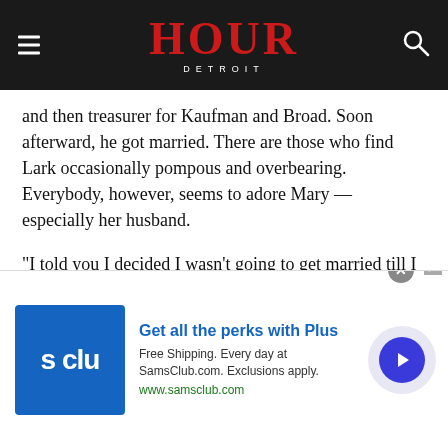HOUR DETROIT
and then treasurer for Kaufman and Broad. Soon afterward, he got married. There are those who find Lark occasionally pompous and overbearing. Everybody, however, seems to adore Mary — especially her husband.
“I told you I decided I wasn’t going to get married till I was 30, so there were a lot of disappointed young ladies,” Lark says. “Mary is the first one my mother approved of.”
Mary even got him to expedite his timetable. They were married on Oct. 15, 1960 — 10 weeks before his self-
[Figure (other): Sam's Club advertisement: 'Get all the perks with Plus'. Free Shipping. Every day at SamsClub.com. Exclusions apply. www.samsclub.com]